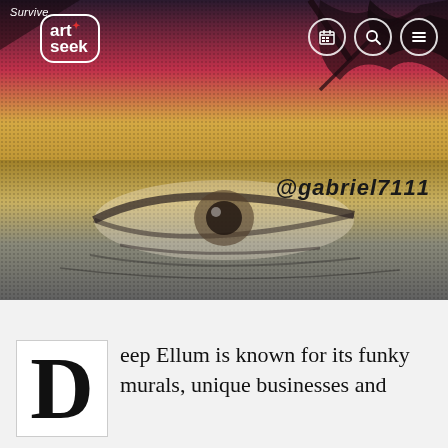[Figure (photo): Hero image showing colorful street murals — close-up of a painted eye and abstract forms in pink, gold, and dark tones. Instagram watermark @gabriel7111 visible.]
Survive art seek (logo with navigation icons for calendar, search, and menu)
@gabriel7111
Deep Ellum is known for its funky murals, unique businesses and